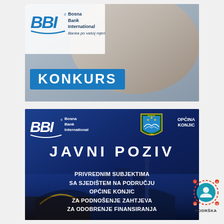[Figure (photo): BBI Bosna Bank International advertisement banner with KONKURS (competition/job posting) text. Shows BBI logo with 'Bosna Bank International - Banka po vašoj mjeri' tagline, background of people joining hands, and blue KONKURS button.]
[Figure (infographic): BBI Bosna Bank International and Općina Konjic joint public call (Javni Poziv) banner. Shows BBI logo, Konjic municipality coat of arms, city night photo, and text about public invitation to businesses in Konjic municipality for financing applications.]
[Figure (logo): Customer support icon - person with headset surrounded by communication icons, labeled PODRŠKA (support)]